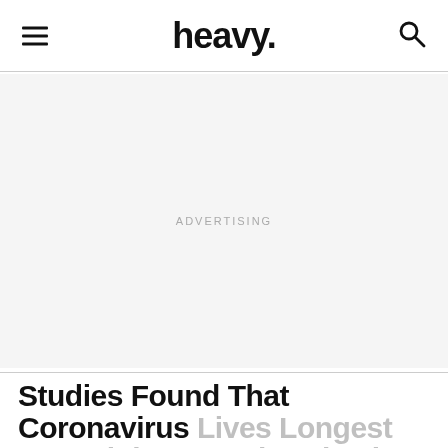heavy.
[Figure (other): Advertisement placeholder area with light gray background and centered 'ADVERTISING' label]
Studies Found That Coronavirus Lives Longest on Stainless Steel & Plastic